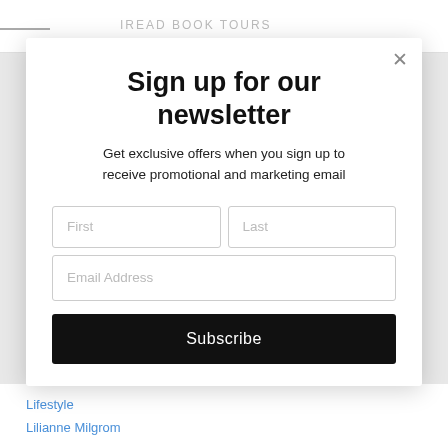iread book tours
Sign up for our newsletter
Get exclusive offers when you sign up to receive promotional and marketing email
First | Last | Email Address | Subscribe
Lifestyle
Lilianne Milgrom